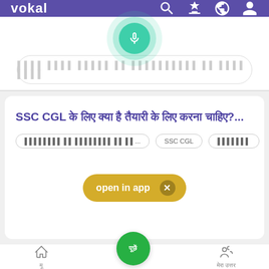vokal
[Figure (screenshot): Vokal app screenshot showing search interface with microphone button, search bar with Hindi placeholder text, navigation tabs (Q&A, UPSC, etc.), a card with SSC CGL Hindi question, 'open in app' banner, and bottom navigation bar]
Q & A  UPSC
SSC CGL के लिए क्या है तैयारी के लिए करना चाहिए?...
open in app ×